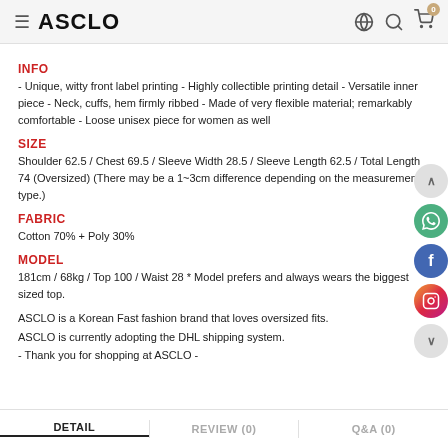ASCLO
INFO
- Unique, witty front label printing - Highly collectible printing detail - Versatile inner piece - Neck, cuffs, hem firmly ribbed - Made of very flexible material; remarkably comfortable - Loose unisex piece for women as well
SIZE
Shoulder 62.5 / Chest 69.5 / Sleeve Width 28.5 / Sleeve Length 62.5 / Total Length 74 (Oversized) (There may be a 1~3cm difference depending on the measurement type.)
FABRIC
Cotton 70% + Poly 30%
MODEL
181cm / 68kg / Top 100 / Waist 28 * Model prefers and always wears the biggest sized top.
ASCLO is a Korean Fast fashion brand that loves oversized fits.
ASCLO is currently adopting the DHL shipping system.
- Thank you for shopping at ASCLO -
DETAIL   REVIEW (0)   Q&A (0)